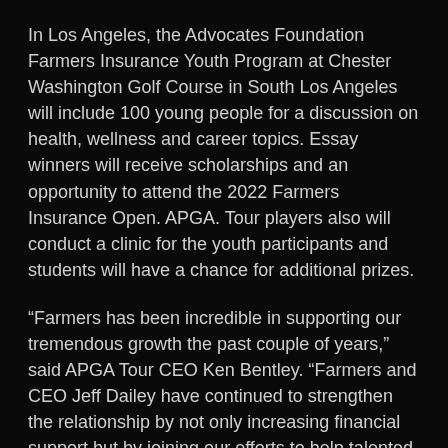In Los Angeles, the Advocates Foundation Farmers Insurance Youth Program at Chester Washington Golf Course in South Los Angeles will include 100 young people for a discussion on health, wellness and career topics. Essay winners will receive scholarships and an opportunity to attend the 2022 Farmers Insurance Open. APGA. Tour players also will conduct a clinic for the youth participants and students will have a chance for additional prizes.
“Farmers has been incredible in supporting our tremendous growth the past couple of years,” said APGA Tour CEO Ken Bentley. “Farmers and CEO Jeff Dailey have continued to strengthen the relationship by not only increasing financial support but by joining our efforts to help talented high school and college minority players. Together we are helping to bring greater diversity to the game of golf.”